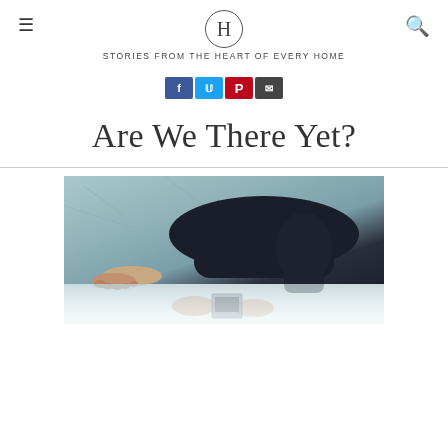H — STORIES FROM THE HEART OF EVERY HOME
[Figure (infographic): Social sharing buttons: Facebook (blue), Twitter (cyan), Pinterest (red), Email (dark)]
Are We There Yet?
[Figure (photo): Pregnant woman lying on a light blue bed, wearing dark pants and a dark top, with bare feet visible. Lower portion shows a faded reflection of hands holding an ultrasound photo.]